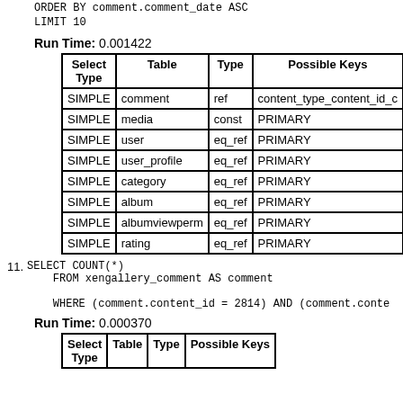ORDER BY comment.comment_date ASC
    LIMIT 10
Run Time: 0.001422
| Select Type | Table | Type | Possible Keys |
| --- | --- | --- | --- |
| SIMPLE | comment | ref | content_type_content_id_c... |
| SIMPLE | media | const | PRIMARY |
| SIMPLE | user | eq_ref | PRIMARY |
| SIMPLE | user_profile | eq_ref | PRIMARY |
| SIMPLE | category | eq_ref | PRIMARY |
| SIMPLE | album | eq_ref | PRIMARY |
| SIMPLE | albumviewperm | eq_ref | PRIMARY |
| SIMPLE | rating | eq_ref | PRIMARY |
11. SELECT COUNT(*)
    FROM xengallery_comment AS comment

    WHERE (comment.content_id = 2814) AND (comment.conte...
Run Time: 0.000370
| Select Type | Table | Type | Possible Keys |
| --- | --- | --- | --- |